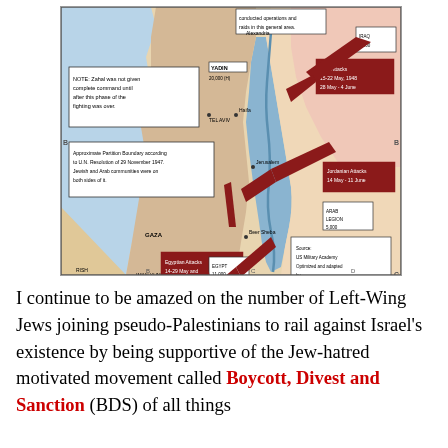[Figure (map): Military map of the 1948 Arab-Israeli War showing Israeli (Zahal/Yadin) and Arab (Iraqi, Jordanian, Egyptian) attacks and operations in the region of Israel/Palestine. Shows troop movements with red arrows, geographic features including the Jordan River and Mediterranean coast, cities (Gaza, Tel Aviv, Beer Sheba, etc.), and annotated boxes indicating force sizes and attack dates. Source credited to US Military Academy, optimized and adapted by www.zionism-israel.com.]
I continue to be amazed on the number of Left-Wing Jews joining pseudo-Palestinians to rail against Israel's existence by being supportive of the Jew-hatred motivated movement called Boycott, Divest and Sanction (BDS) of all things